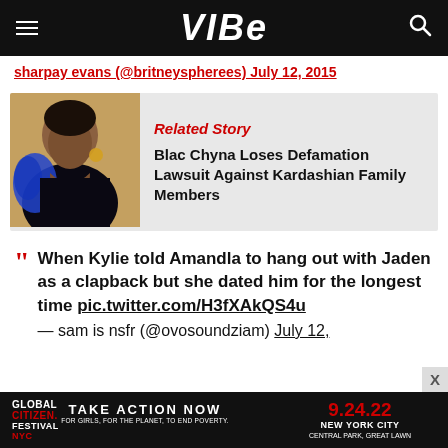VIBE
sharpay evans (@britneyspheress) July 12, 2015
[Figure (photo): Photo of Blac Chyna in a black outfit with blue feather trim on a red carpet. Related Story card: Blac Chyna Loses Defamation Lawsuit Against Kardashian Family Members]
When Kylie told Amandla to hang out with Jaden as a clapback but she dated him for the longest time pic.twitter.com/H3fXAkQS4u — sam is nsfr (@ovosoundziam) July 12,
[Figure (screenshot): Advertisement banner: Global Citizen Festival NYC - Take Action Now - 9.24.22 - New York City Central Park, Great Lawn]